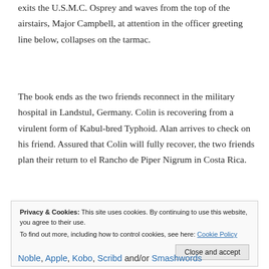exits the U.S.M.C. Osprey and waves from the top of the airstairs, Major Campbell, at attention in the officer greeting line below, collapses on the tarmac.
The book ends as the two friends reconnect in the military hospital in Landstul, Germany. Colin is recovering from a virulent form of Kabul-bred Typhoid. Alan arrives to check on his friend. Assured that Colin will fully recover, the two friends plan their return to el Rancho de Piper Nigrum in Costa Rica.
Privacy & Cookies: This site uses cookies. By continuing to use this website, you agree to their use. To find out more, including how to control cookies, see here: Cookie Policy
Close and accept
Noble, Apple, Kobo, Scribd and/or Smashwords